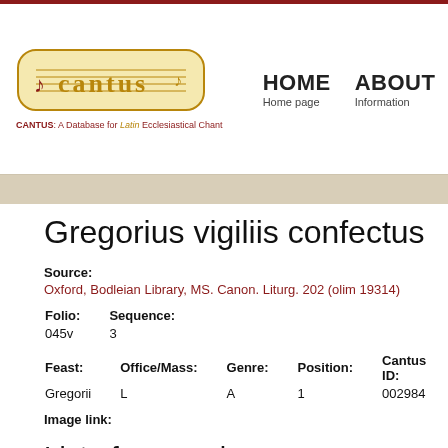[Figure (logo): CANTUS database logo with musical staff and ornate text]
HOME Home page  ABOUT Information  SOUR List of inv
CANTUS: A Database for Latin Ecclesiastical Chant
Gregorius vigiliis confectus
Source:
Oxford, Bodleian Library, MS. Canon. Liturg. 202 (olim 19314)
| Folio: | Sequence: |
| --- | --- |
| 045v | 3 |
| Feast: | Office/Mass: | Genre: | Position: | Cantus ID: | Mo |
| --- | --- | --- | --- | --- | --- |
| Gregorii | L | A | 1 | 002984 | ? |
Image link:
List of concordances
» Display all concordances of this chant